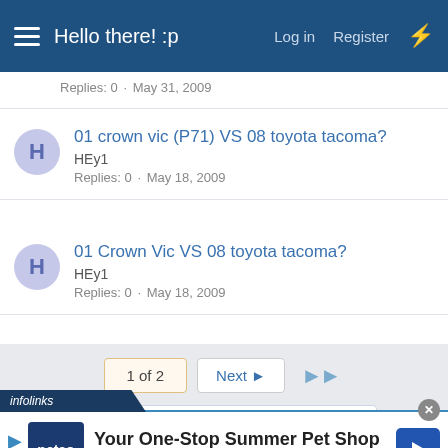Hello there! :p  Log in  Register
Replies: 0 · May 31, 2009
01 crown vic (P71) VS 08 toyota tacoma?
HEy1
Replies: 0 · May 18, 2009
01 Crown Vic VS 08 toyota tacoma?
HEy1
Replies: 0 · May 18, 2009
1 of 2  Next ▶  ▶▶
You must log in or register to post here.
[Figure (other): infolinks advertisement banner for Petco: Your One-Stop Summer Pet Shop]